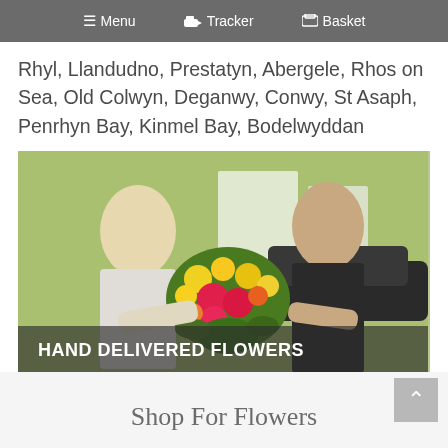Menu  Tracker  Basket
Rhyl, Llandudno, Prestatyn, Abergele, Rhos on Sea, Old Colwyn, Deganwy, Conwy, St Asaph, Penrhyn Bay, Kinmel Bay, Bodelwyddan
[Figure (photo): A flower delivery person in a dark uniform handing a large bouquet of colorful yellow and pink flowers to a woman in white, outdoors near a car. Overlay text reads HAND DELIVERED FLOWERS.]
Shop For Flowers